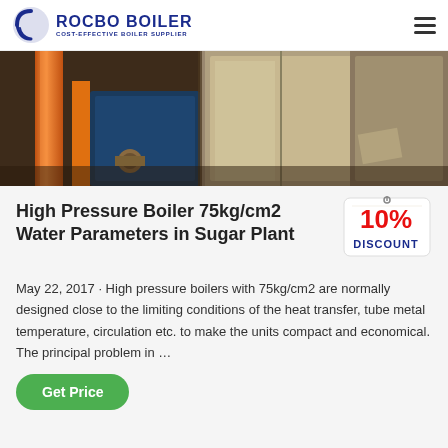ROCBO BOILER — COST-EFFECTIVE BOILER SUPPLIER
[Figure (photo): Industrial boiler equipment showing orange pipes and stainless steel tanks in a factory setting]
High Pressure Boiler 75kg/cm2 Water Parameters in Sugar Plant
[Figure (illustration): 10% DISCOUNT badge/tag in red and blue colors]
May 22, 2017 · High pressure boilers with 75kg/cm2 are normally designed close to the limiting conditions of the heat transfer, tube metal temperature, circulation etc. to make the units compact and economical. The principal problem in …
Get Price